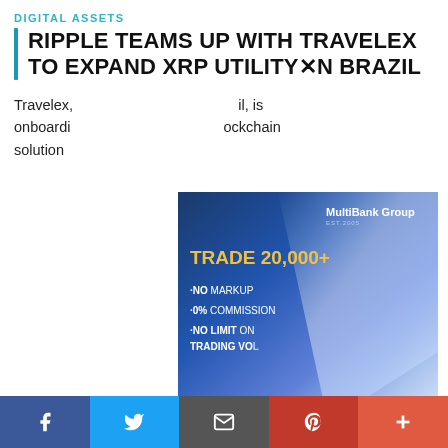DIGITAL ASSETS
RIPPLE TEAMS UP WITH TRAVELEX TO EXPAND XRP UTILITY IN BRAZIL
Travelex, [partially obscured by ad], is onboarding [partially obscured] blockchain solution [partially obscured]
[Figure (advertisement): MultiBankGroup advertisement: TRADE 20,000+, NO MARKUP, 0% COMMISSION, NO LIMIT ON TRADING VOLUME. Blue gradient background with teal bottom section and coin imagery.]
Facebook share | Twitter share | Email share | Pinterest share | More